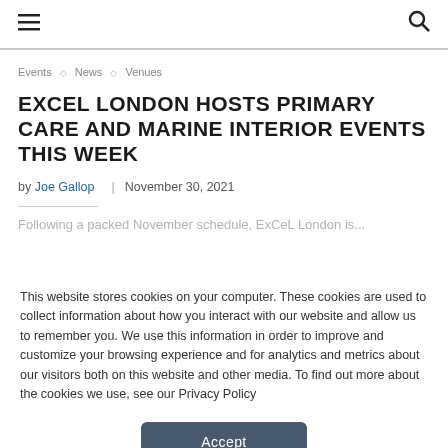☰  🔍
Events ◇ News ◇ Venues
EXCEL LONDON HOSTS PRIMARY CARE AND MARINE INTERIOR EVENTS THIS WEEK
by Joe Gallop | November 30, 2021
This website stores cookies on your computer. These cookies are used to collect information about how you interact with our website and allow us to remember you. We use this information in order to improve and customize your browsing experience and for analytics and metrics about our visitors both on this website and other media. To find out more about the cookies we use, see our Privacy Policy
Accept